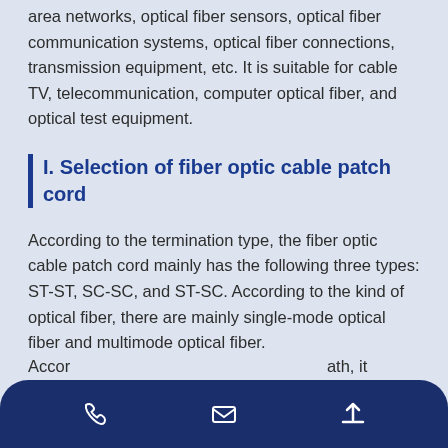area networks, optical fiber sensors, optical fiber communication systems, optical fiber connections, transmission equipment, etc. It is suitable for cable TV, telecommunication, computer optical fiber, and optical test equipment.
I. Selection of fiber optic cable patch cord
According to the termination type, the fiber optic cable patch cord mainly has the following three types: ST-ST, SC-SC, and ST-SC. According to the kind of optical fiber, there are mainly single-mode optical fiber and multimode optical fiber.
The fiber optic cable patch cord length specifications include 0.5m, 1m, 2m, 3m, 5m, 10m, etc.
Accor ath, it